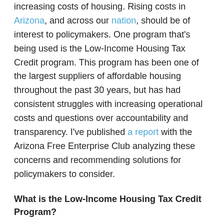increasing costs of housing. Rising costs in Arizona, and across our nation, should be of interest to policymakers. One program that's being used is the Low-Income Housing Tax Credit program. This program has been one of the largest suppliers of affordable housing throughout the past 30 years, but has had consistent struggles with increasing operational costs and questions over accountability and transparency. I've published a report with the Arizona Free Enterprise Club analyzing these concerns and recommending solutions for policymakers to consider.
What is the Low-Income Housing Tax Credit Program?
The Low-Income Housing Tax Credit (LIHTC) program operates by offering federal tax credits to developers who construct new, rehabilitated, or refinanced rental housing that meets affordability requirements set by the U.S.